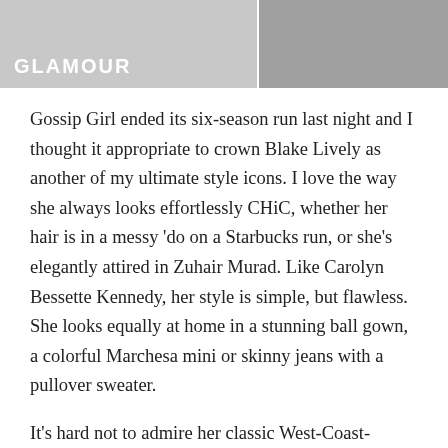[Figure (photo): Two black-and-white photos side by side. The left photo shows a woman in a white top with a 'GLAMOUR' label in bold white text at the bottom left. The right photo shows a woman with light-colored hair.]
Gossip Girl ended its six-season run last night and I thought it appropriate to crown Blake Lively as another of my ultimate style icons.  I love the way she always looks effortlessly CHiC, whether her hair is in a messy 'do on a Starbucks run, or she's elegantly attired in Zuhair Murad.  Like Carolyn Bessette Kennedy, her style is simple, but flawless.  She looks equally at home in a stunning ball gown, a colorful Marchesa mini or skinny jeans with a pullover sweater.
It's hard not to admire her classic West-Coast-meets-East-Coast, bohemian CHiC alongside her...